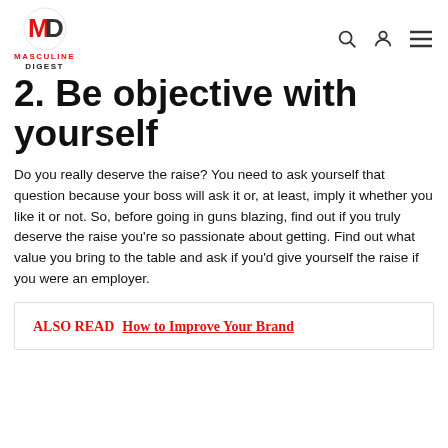MASCULINE DIGEST
2. Be objective with yourself
Do you really deserve the raise? You need to ask yourself that question because your boss will ask it or, at least, imply it whether you like it or not. So, before going in guns blazing, find out if you truly deserve the raise you're so passionate about getting. Find out what value you bring to the table and ask if you'd give yourself the raise if you were an employer.
ALSO READ  How to Improve Your Brand